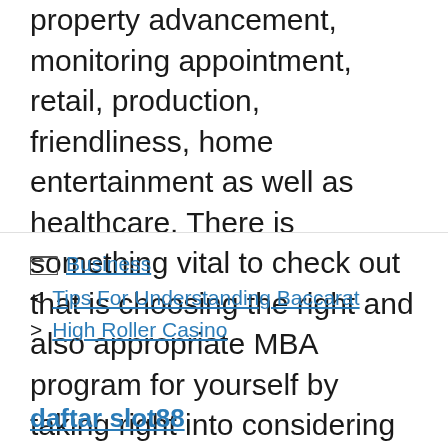property advancement, monitoring appointment, retail, production, friendliness, home entertainment as well as healthcare. There is something vital to check out that is choosing the right and also appropriate MBA program for yourself by taking right into considering your individual skills, passion, previous credentials, past experiences and total academic accomplishments.
Business
Tips For Understanding Baccarat
High Roller Casino
daftar slot88